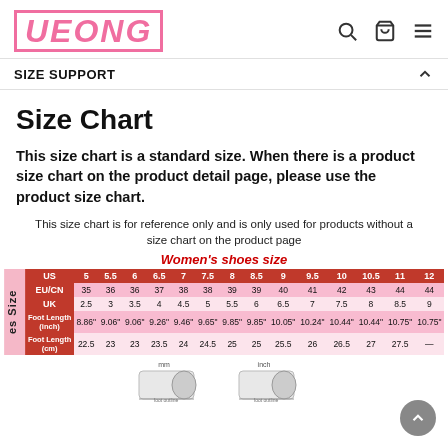UEONG
SIZE SUPPORT
Size Chart
This size chart is a standard size. When there is a product size chart on the product detail page, please use the product size chart.
This size chart is for reference only and is only used for products without a size chart on the product page
|  | US | 5 | 5.5 | 6 | 6.5 | 7 | 7.5 | 8 | 8.5 | 9 | 9.5 | 10 | 10.5 | 11 | 12 |
| --- | --- | --- | --- | --- | --- | --- | --- | --- | --- | --- | --- | --- | --- | --- | --- |
|  | EU/CN | 35 | 36 | 36 | 37 | 38 | 38 | 39 | 39 | 40 | 41 | 42 | 43 | 44 | 44 |
|  | UK | 2.5 | 3 | 3.5 | 4 | 4.5 | 5 | 5.5 | 6 | 6.5 | 7 | 7.5 | 8 | 8.5 | 9 |
|  | Foot Length (inch) | 8.86" | 9.06" | 9.06" | 9.26" | 9.46" | 9.65" | 9.85" | 9.85" | 10.05" | 10.24" | 10.44" | 10.44" | 10.75" | 10.75" |
|  | Foot Length (cm) | 22.5 | 23 | 23 | 23.5 | 24 | 24.5 | 25 | 25 | 25.5 | 26 | 26.5 | 27 | 27.5 | — |
[Figure (illustration): Foot measurement diagrams showing how to measure foot length (mm and inch scale)]